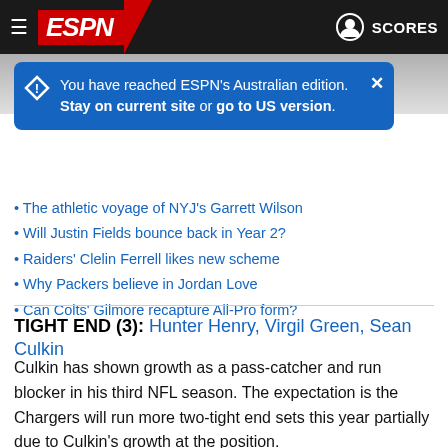[Figure (screenshot): ESPN mobile app navigation bar with hamburger menu, ESPN logo on red background, and SCORES button with profile icon on dark background]
You have reached ESPN's Australian edition. Stay on current site or go to US version.
The athletic voyage of NYJ's Garrett Wilson
Will Justin Fields bounce back in Year 2?
Raiders' Clelin Ferrell likes new scheme
Why Packers believe in Jordan Love
Can Colts' Gilmore recapture All-Pro form?
TIGHT END (3): Hunter Henry, Virgil Green, Sean Culkin
Culkin has shown growth as a pass-catcher and run blocker in his third NFL season. The expectation is the Chargers will run more two-tight end sets this year partially due to Culkin's growth at the position.
OFFENSIVE LINE (8): Dan Feeney, Mike Pouncey, Michael Schofield III, Sam Tevi, Forrest Lamp, Scott Quessenberry